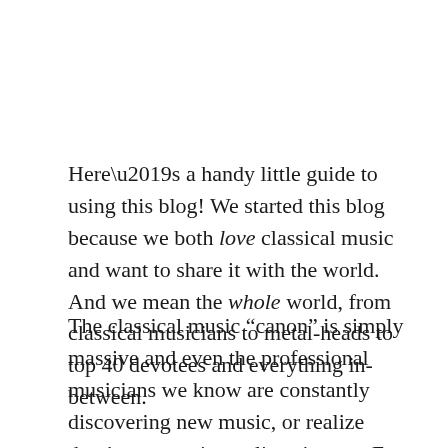Here's a handy little guide to using this blog! We started this blog because we both love classical music and want to share it with the world. And we mean the whole world, from classical musicians to metal-heads to top 40 devotees and everything in-between.
The classical music “canon” is simply massive and even the professional musicians we know are constantly discovering new music, or realize they’ve gotten into a listening rut. For